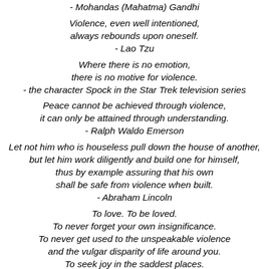- Mohandas (Mahatma) Gandhi
Violence, even well intentioned, always rebounds upon oneself. - Lao Tzu
Where there is no emotion, there is no motive for violence. - the character Spock in the Star Trek television series
Peace cannot be achieved through violence, it can only be attained through understanding. - Ralph Waldo Emerson
Let not him who is houseless pull down the house of another, but let him work diligently and build one for himself, thus by example assuring that his own shall be safe from violence when built. - Abraham Lincoln
To love. To be loved. To never forget your own insignificance. To never get used to the unspeakable violence and the vulgar disparity of life around you. To seek joy in the saddest places.